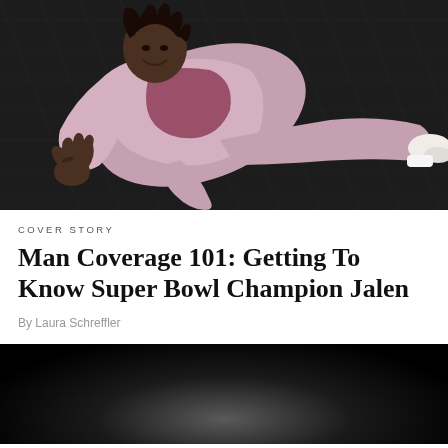[Figure (photo): Man in pink/mauve tracksuit lying on a dark mesh/net surface, smiling, with tattoos on his hand, wearing white sneakers.]
COVER STORY
Man Coverage 101: Getting To Know Super Bowl Champion Jalen
By Laura Schreffler
[Figure (photo): Dark/black background photo, mostly black with slight gray glow at center bottom, appears to be beginning of another image.]